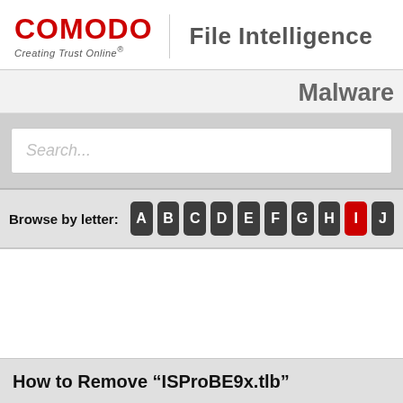COMODO Creating Trust Online® | File Intelligence
Malware
Search...
Browse by letter: A B C D E F G H I J
How to Remove “ISProBE9x.tlb”